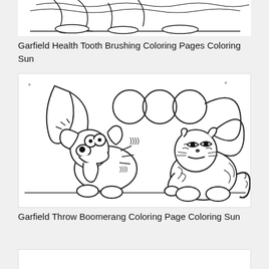[Figure (illustration): Partial view of a Garfield coloring page illustration showing tooth brushing scene, cropped at top of page]
Garfield Health Tooth Brushing Coloring Pages Coloring Sun
[Figure (illustration): Black and white Garfield coloring page showing Odie getting hit by a boomerang thrown by Garfield. Odie is on the left with his tongue out and eyes wide, motion lines showing impact. Garfield is on the right looking smug with a curved tail. Boomerang curves are shown in the background.]
Garfield Throw Boomerang Coloring Page Coloring Sun
[Figure (illustration): Partial view of another Garfield coloring page, cropped at bottom of page]